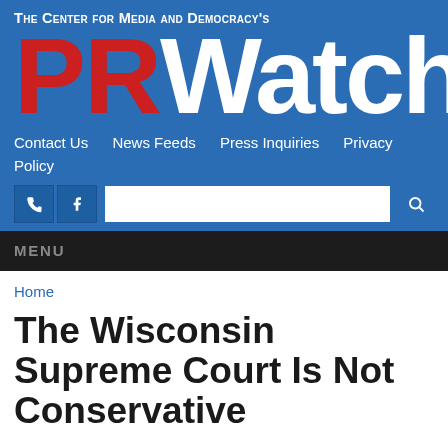The Center for Media and Democracy's PRWatch
Contact Us   News Feeds   Press Inquiries   Privacy Policy
MENU
Home
The Wisconsin Supreme Court Is Not Conservative